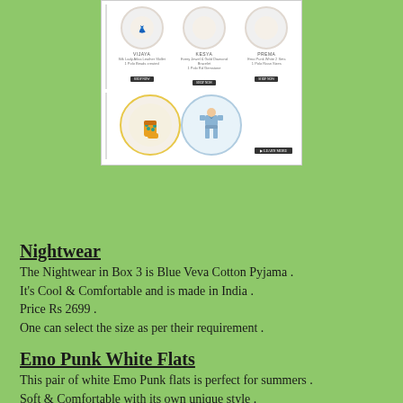[Figure (screenshot): Screenshot of an e-commerce website showing product listings: VIJAYA, KESYA, PREMA in top row with names and shop now buttons; second row showing socks with orange/yellow pattern in a circle and blue pajama set in a circle]
Nightwear
The Nightwear in Box 3 is Blue Veva Cotton Pyjama . It's Cool & Comfortable and is made in India . Price Rs 2699 . One can select the size as per their requirement .
Emo Punk White Flats
This pair of white Emo Punk flats is perfect for summers . Soft  & Comfortable with its own unique style . Price Rs 1899.
Ivory & Gold Enamel Bracelet
Kesya's  Ivory & Gold Enamel Bracelet is a classic bracelet crafted in brass , plated with 22 Ct gold and filled with ivory enamel . It's a Perfect accessory for any occasion . A stylish & Classy